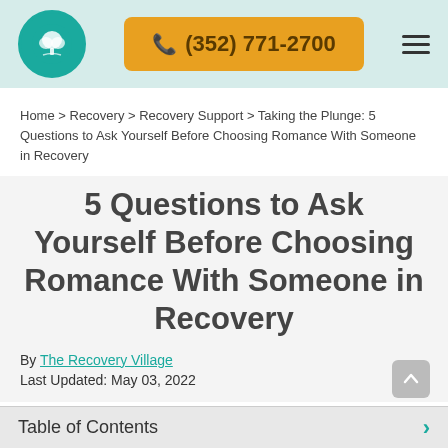(352) 771-2700
Home > Recovery > Recovery Support > Taking the Plunge: 5 Questions to Ask Yourself Before Choosing Romance With Someone in Recovery
5 Questions to Ask Yourself Before Choosing Romance With Someone in Recovery
By The Recovery Village
Last Updated: May 03, 2022
Table of Contents